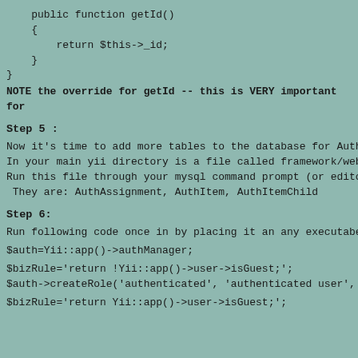public function getId()
    {
        return $this->_id;
    }
}
NOTE the override for getId -- this is VERY important for
Step 5 :
Now it's time to add more tables to the database for Authe
In your main yii directory is a file called framework/web/
Run this file through your mysql command prompt (or editor
 They are: AuthAssignment, AuthItem, AuthItemChild
Step 6:
Run following code once in by placing it an any executabel
$auth=Yii::app()->authManager;
$bizRule='return !Yii::app()->user->isGuest;';
$auth->createRole('authenticated', 'authenticated user', $
$bizRule='return Yii::app()->user->isGuest;';